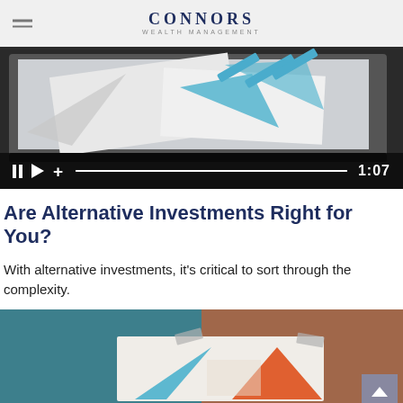CONNORS WEALTH MANAGEMENT
[Figure (screenshot): Video thumbnail showing a tablet/laptop with charts and graphs on screen. Below the image are video player controls: pause button, play button, plus button, a progress bar, and timestamp '1:07'.]
Are Alternative Investments Right for You?
With alternative investments, it's critical to sort through the complexity.
[Figure (photo): Abstract artwork image with teal/dark blue on left half and brown/copper on right half, with a collage of geometric shapes including triangles in teal and orange colors, taped with grey tape strips.]